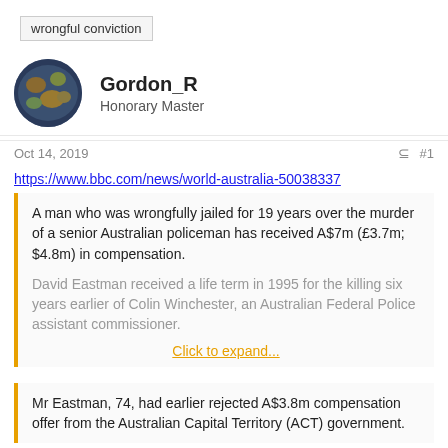wrongful conviction
Gordon_R
Honorary Master
Oct 14, 2019   #1
https://www.bbc.com/news/world-australia-50038337
A man who was wrongfully jailed for 19 years over the murder of a senior Australian policeman has received A$7m (£3.7m; $4.8m) in compensation.

David Eastman received a life term in 1995 for the killing six years earlier of Colin Winchester, an Australian Federal Police assistant commissioner.

Click to expand...
Mr Eastman, 74, had earlier rejected A$3.8m compensation offer from the Australian Capital Territory (ACT) government.